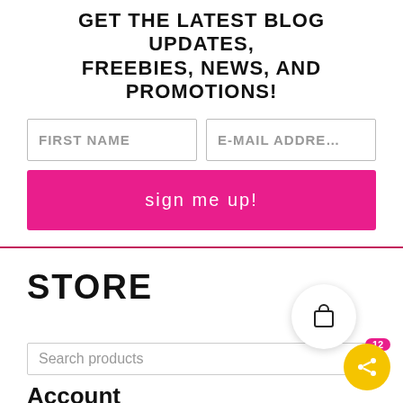GET THE LATEST BLOG UPDATES, FREEBIES, NEWS, AND PROMOTIONS!
[Figure (screenshot): Newsletter signup form with First Name and E-Mail Address input fields]
[Figure (screenshot): Sign Me Up! pink button]
STORE
Search products
Account
Store / Account